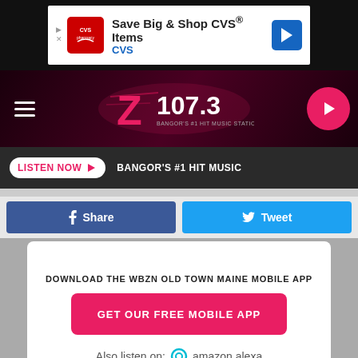[Figure (screenshot): CVS Pharmacy advertisement banner with text 'Save Big & Shop CVS® Items' and 'CVS' subtext, CVS logo on left, blue arrow icon on right]
[Figure (logo): Z107.3 radio station logo on dark maroon background with hamburger menu icon on left and pink circular play button on right]
LISTEN NOW ▶   BANGOR'S #1 HIT MUSIC
f  Share
Tweet
DOWNLOAD THE WBZN OLD TOWN MAINE MOBILE APP
GET OUR FREE MOBILE APP
Also listen on:  amazon alexa